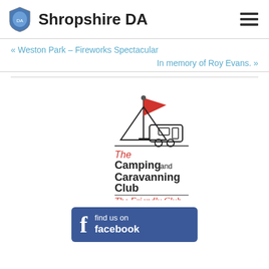Shropshire DA
« Weston Park – Fireworks Spectacular
In memory of Roy Evans. »
[Figure (logo): The Camping and Caravanning Club - The Friendly Club logo with tent, caravan and flag illustration]
[Figure (logo): Find us on Facebook button]